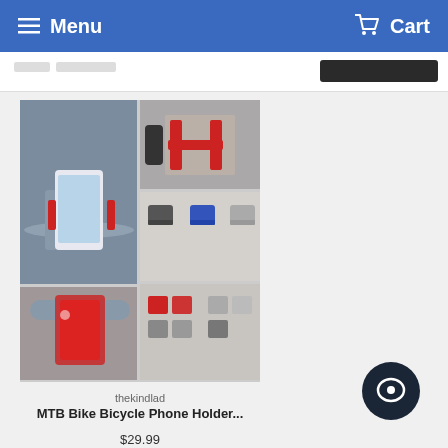Menu  Cart
[Figure (photo): Product listing image grid showing a bicycle phone holder mount in multiple colors (red, blue, silver, black) attached to bike handlebars, with various angle shots.]
thekindlad
MTB Bike Bicycle Phone Holder...
$29.99